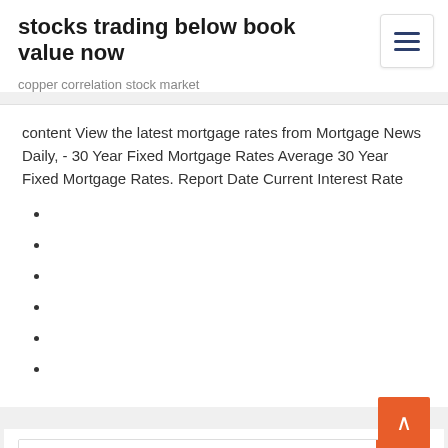stocks trading below book value now
copper correlation stock market
content View the latest mortgage rates from Mortgage News Daily, - 30 Year Fixed Mortgage Rates Average 30 Year Fixed Mortgage Rates. Report Date Current Interest Rate